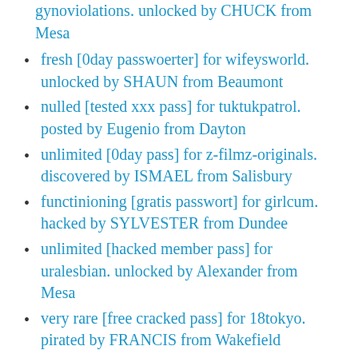gynoviolations. unlocked by CHUCK from Mesa
fresh [0day passwoerter] for wifeysworld. unlocked by SHAUN from Beaumont
nulled [tested xxx pass] for tuktukpatrol. posted by Eugenio from Dayton
unlimited [0day pass] for z-filmz-originals. discovered by ISMAEL from Salisbury
functinioning [gratis passwort] for girlcum. hacked by SYLVESTER from Dundee
unlimited [hacked member pass] for uralesbian. unlocked by Alexander from Mesa
very rare [free cracked pass] for 18tokyo. pirated by FRANCIS from Wakefield
unlimited [accesso Premium] for teensexclub. unlocked by PHILIP from